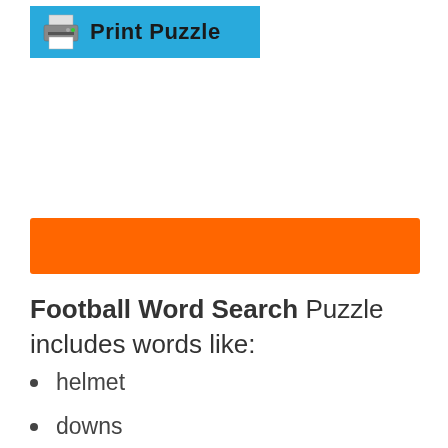[Figure (other): Print Puzzle button with printer icon on a blue background]
[Figure (other): Orange advertisement/banner bar]
Football Word Search Puzzle includes words like:
helmet
downs
yards